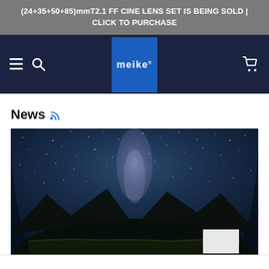(24+35+50+85)mmT2.1 FF CINE LENS SET IS BEING SOLD | CLICK TO PURCHASE
[Figure (screenshot): Meike brand navigation bar with hamburger menu, search icon, Meike logo on blue square background, and shopping cart icon on dark navy background]
News
[Figure (photo): Wide-angle fisheye panorama photo of the Milky Way galaxy at night, with green grass field in foreground, mountain silhouettes on left and right sides, warm orange glow near horizon, and bright starry sky with Milky Way band visible in center]